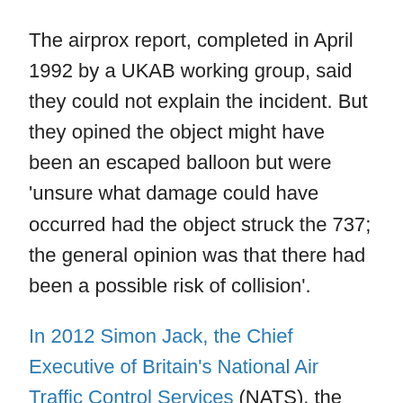The airprox report, completed in April 1992 by a UKAB working group, said they could not explain the incident. But they opined the object might have been an escaped balloon but were 'unsure what damage could have occurred had the object struck the 737; the general opinion was that there had been a possible risk of collision'.
In 2012 Simon Jack, the Chief Executive of Britain's National Air Traffic Control Services (NATS), the company employed by the CAA to operate air traffic services in the UK, admitted his controllers often receive reports of flying objects 'that don't conform to normal flight patterns'.
But, quizzed on BBC Radio 4, Jack played down the significance of this admission by adding 'it's not something